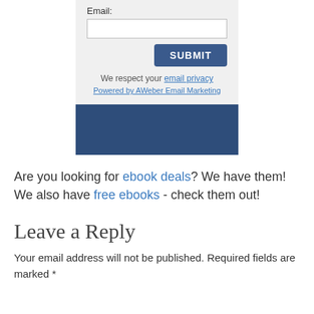[Figure (screenshot): Email subscription form widget with a text input labeled 'Email:', a blue SUBMIT button, privacy text with an 'email privacy' link, and a 'Powered by AWeber Email Marketing' link, followed by a dark blue decorative banner.]
Are you looking for ebook deals? We have them! We also have free ebooks - check them out!
Leave a Reply
Your email address will not be published. Required fields are marked *